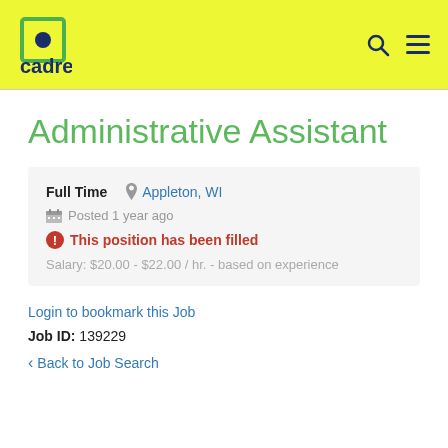cadre
Administrative Assistant
Full Time   Appleton, WI
Posted 1 year ago
This position has been filled
Salary: $20.00 - $22.00 / hr. - based on experience
Login to bookmark this Job
Job ID: 139229
Back to Job Search